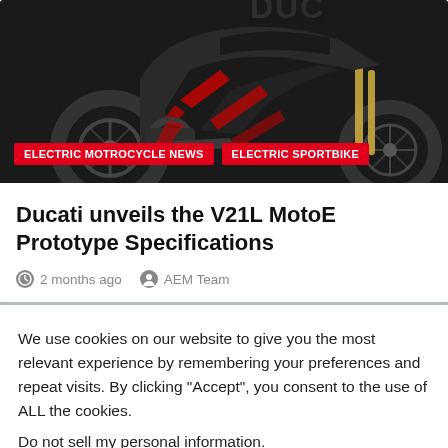[Figure (photo): Dark Ducati electric motorcycle (V21L MotoE prototype) on black background, viewed from side/rear angle. Red accents visible on bodywork.]
ELECTRIC MOTROCYCLE NEWS
ELECTRIC SPORTBIKE
Ducati unveils the V21L MotoE Prototype Specifications
2 months ago   AEM Team
We use cookies on our website to give you the most relevant experience by remembering your preferences and repeat visits. By clicking “Accept”, you consent to the use of ALL the cookies.
Do not sell my personal information.
Cookie settings   ACCEPT